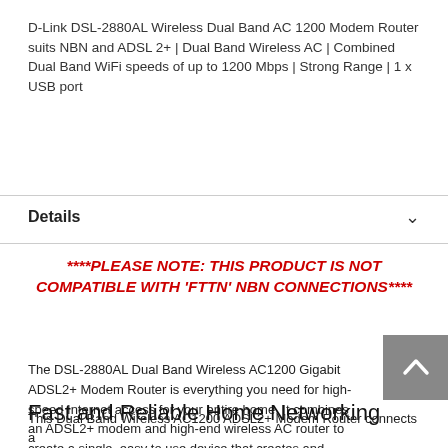D-Link DSL-2880AL Wireless Dual Band AC 1200 Modem Router suits NBN and ADSL 2+ | Dual Band Wireless AC | Combined Dual Band WiFi speeds of up to 1200 Mbps | Strong Range | 1 x USB port
Details
****PLEASE NOTE: THIS PRODUCT IS NOT COMPATIBLE WITH 'FTTN' NBN CONNECTIONS****
The DSL-2880AL Dual Band Wireless AC1200 Gigabit ADSL2+ Modem Router is everything you need for high-speed Internet access for your entire home. It combines an ADSL2+ modem and high-end wireless AC router to create a single, easy to use device that creates and shares an Internet connection for all your devices.
Fast and Reliable Home Networking
This Dual Band Wireless AC1200 ADSL2+ Modem Router connects a